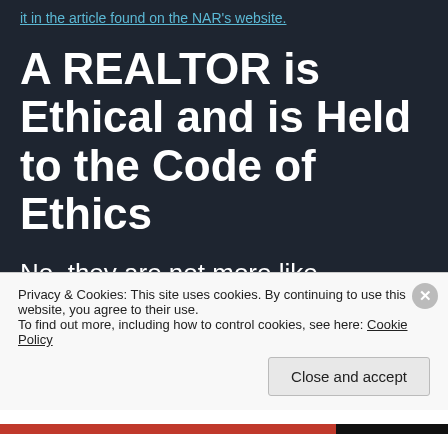it in the article found on the NAR's website.
A REALTOR is Ethical and is Held to the Code of Ethics
No, they are not more like guidelines
Our website proudly displays the REALTOR logo because we believe in what the REALTOR Code of Ethics stands for. In that document, which is over 100 years old and has
Privacy & Cookies: This site uses cookies. By continuing to use this website, you agree to their use.
To find out more, including how to control cookies, see here: Cookie Policy
Close and accept